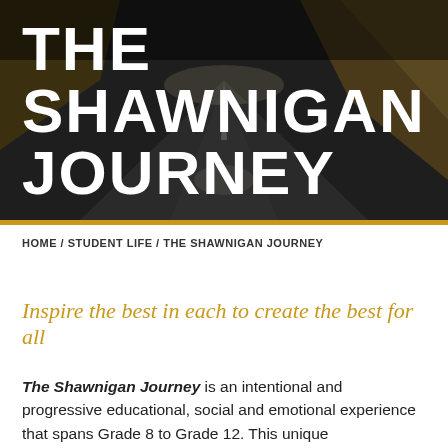[Figure (photo): Dark road/highway perspective photo used as hero background with text overlay]
THE SHAWNIGAN JOURNEY
HOME / STUDENT LIFE / THE SHAWNIGAN JOURNEY
Inspire the best in each to create the best for all
The Shawnigan Journey is an intentional and progressive educational, social and emotional experience that spans Grade 8 to Grade 12. This unique